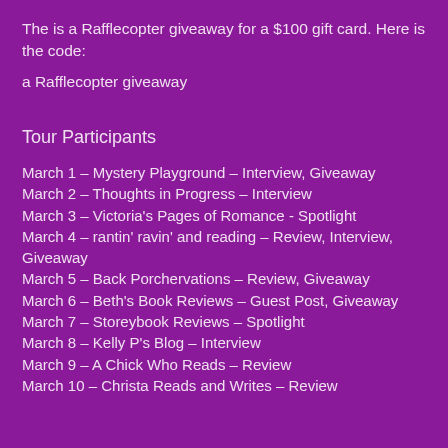The is a Rafflecopter giveaway for a $100 gift card. Here is the code:
a Rafflecopter giveaway
Tour Participants
March 1 – Mystery Playground – Interview, Giveaway
March 2 – Thoughts in Progress – Interview
March 3 – Victoria's Pages of Romance - Spotlight
March 4 – rantin' ravin' and reading – Review, Interview, Giveaway
March 5 – Back Porchervations – Review, Giveaway
March 6 – Beth's Book Reviews – Guest Post, Giveaway
March 7 – Storeybook Reviews – Spotlight
March 8 – Kelly P's Blog – Interview
March 9 – A Chick Who Reads – Review
March 10 – Christa Reads and Writes – Review